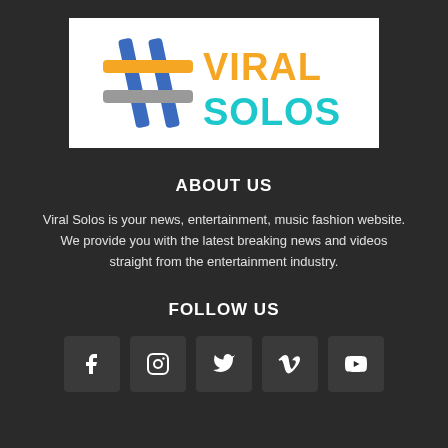[Figure (logo): Viral Solos logo with hashtag symbol in blue, teal, orange and grey, white background]
ABOUT US
Viral Solos is your news, entertainment, music fashion website. We provide you with the latest breaking news and videos straight from the entertainment industry.
FOLLOW US
[Figure (infographic): Social media icons row: Facebook, Instagram, Twitter, Vimeo, YouTube]